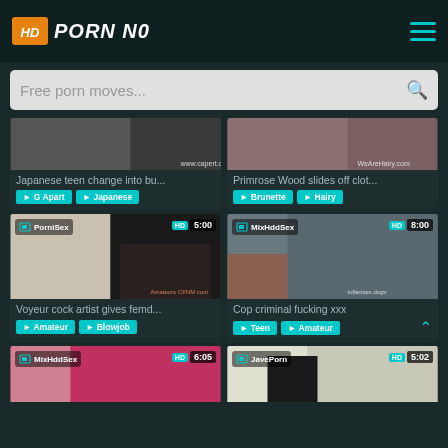HD PORN NO
Free porn moves...
[Figure (screenshot): Partial video thumbnail - Japanese teen]
Japanese teen change into bu...
G Apart  Japanese
[Figure (screenshot): Partial video thumbnail - Primrose Wood]
Primrose Wood slides off clot...
Brunette  Hairy
[Figure (screenshot): PorniSex video thumbnail 5:00 - Voyeur cock artist gives femd...]
Voyeur cock artist gives femd...
Amateur  Blowjob
[Figure (screenshot): MixHddSex video thumbnail 8:00 - Cop criminal fucking xxx]
Cop criminal fucking xxx
Teen  Amateur
[Figure (screenshot): MixHddSex video thumbnail 6:05]
[Figure (screenshot): JavePorn video thumbnail 5:02]